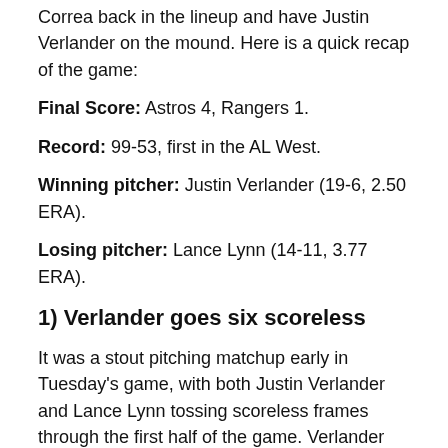Correa back in the lineup and have Justin Verlander on the mound. Here is a quick recap of the game:
Final Score: Astros 4, Rangers 1.
Record: 99-53, first in the AL West.
Winning pitcher: Justin Verlander (19-6, 2.50 ERA).
Losing pitcher: Lance Lynn (14-11, 3.77 ERA).
1) Verlander goes six scoreless
It was a stout pitching matchup early in Tuesday's game, with both Justin Verlander and Lance Lynn tossing scoreless frames through the first half of the game. Verlander would win the battle,